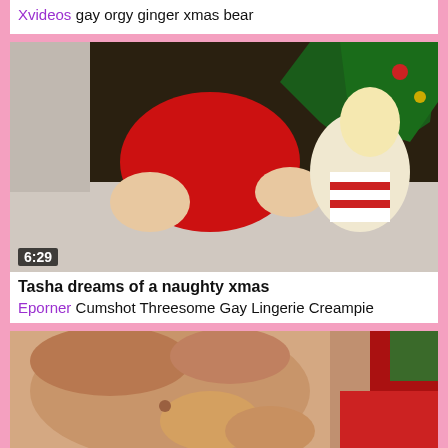Xvideos gay orgy ginger xmas bear
[Figure (screenshot): Video thumbnail showing two women in Christmas-themed scene, duration 6:29]
Tasha dreams of a naughty xmas
Eporner Cumshot Threesome Gay Lingerie Creampie
[Figure (screenshot): Video thumbnail showing a close-up scene with person in Santa costume]